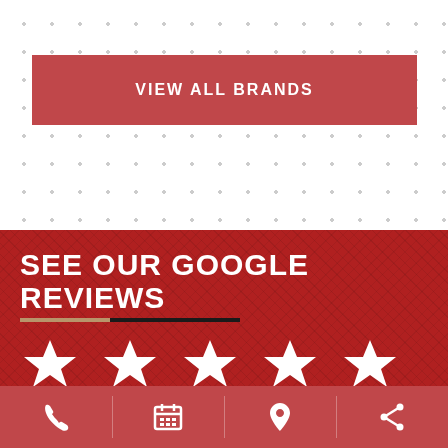[Figure (other): Button with text VIEW ALL BRANDS on dotted white background]
SEE OUR GOOGLE REVIEWS
[Figure (other): Five white star rating icons on red background]
[Figure (other): READ ALL REVIEWS button on dark background with up-arrow button on right]
[Figure (other): Bottom navigation bar with phone, calendar, location pin, and share icons]